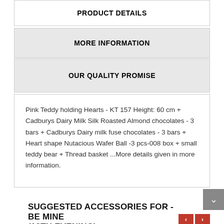PRODUCT DETAILS
MORE INFORMATION
OUR QUALITY PROMISE
Pink Teddy holding Hearts - KT 157 Height: 60 cm + Cadburys Dairy Milk Silk Roasted Almond chocolates - 3 bars + Cadburys Dairy milk fuse chocolates - 3 bars + Heart shape Nutacious Wafer Ball -3 pcs-008 box + small teddy bear + Thread basket ...More details given in more information.
SUGGESTED ACCESSORIES FOR - BE MINE (13TH EVENING)